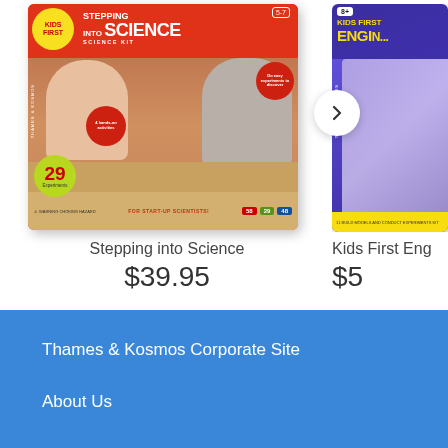[Figure (photo): Product image of Thames & Kosmos 'Stepping into Science' science kit box showing two children doing experiments]
Stepping into Science
$39.95
[Figure (photo): Partial product image of Thames & Kosmos 'Kids First Engineering' kit box, partially visible on right side with navigation arrow]
Kids First Eng
$5
Thames & Kosmos Corporate Site
About Us